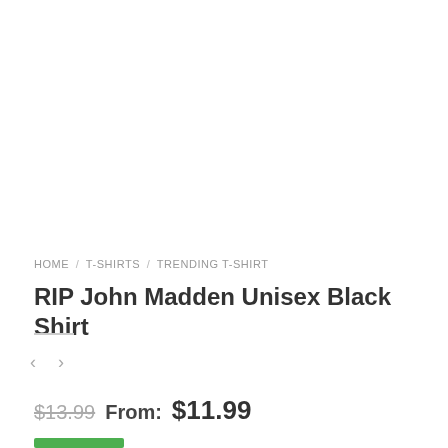HOME / T-SHIRTS / TRENDING T-SHIRT
RIP John Madden Unisex Black Shirt
< >
$13.99  From: $11.99